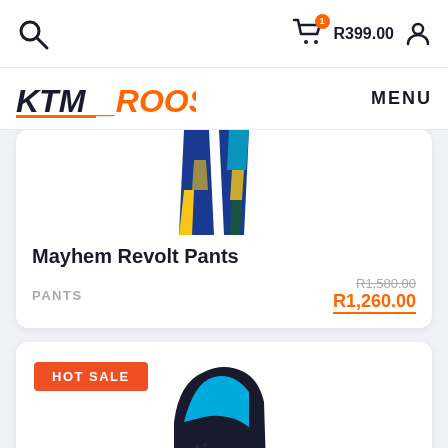R399.00
[Figure (logo): KTM_ROOST logo in black and orange text]
MENU
[Figure (photo): Mayhem Revolt Pants product photo showing blue, yellow and teal motocross pants]
Mayhem Revolt Pants
PANTS
R1,580.00 R1,260.00
[Figure (photo): Black and blue O'Neal motocross glove with HOT SALE badge]